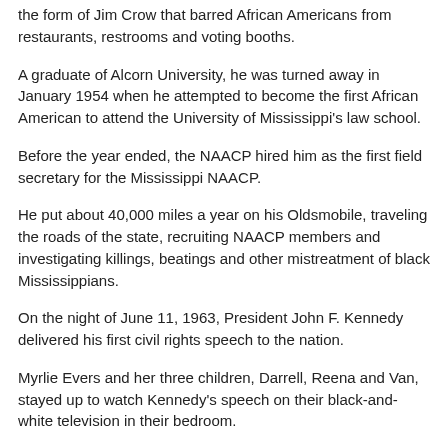the form of Jim Crow that barred African Americans from restaurants, restrooms and voting booths.
A graduate of Alcorn University, he was turned away in January 1954 when he attempted to become the first African American to attend the University of Mississippi's law school.
Before the year ended, the NAACP hired him as the first field secretary for the Mississippi NAACP.
He put about 40,000 miles a year on his Oldsmobile, traveling the roads of the state, recruiting NAACP members and investigating killings, beatings and other mistreatment of black Mississippians.
On the night of June 11, 1963, President John F. Kennedy delivered his first civil rights speech to the nation.
Myrlie Evers and her three children, Darrell, Reena and Van, stayed up to watch Kennedy's speech on their black-and-white television in their bedroom.